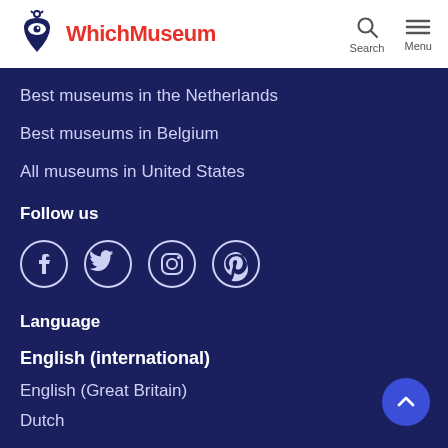WhichMuseum
Best museums in the Netherlands
Best museums in Belgium
All museums in United States
Follow us
[Figure (illustration): Social media icons: Facebook, Twitter, Instagram, Pinterest]
Language
English (international)
English (Great Britain)
Dutch